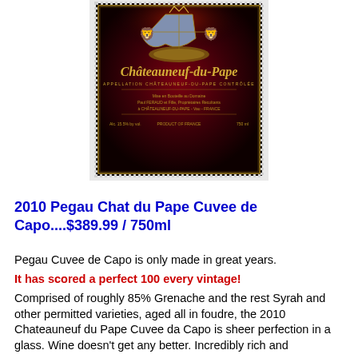[Figure (photo): Wine bottle label for Châteauneuf-du-Pape, dark red background with gold coat of arms crest, ornate gothic text reading 'Châteauneuf-du-Pape', appellation text, producer details 'Paul FERAUD et Fille, Propriétaires Récoltants à CHÂTEAUNEUF-DU-PAPE - Vau - FRANCE', Alc. 15.5% by vol., PRODUCT OF FRANCE, 750ml]
2010 Pegau Chat du Pape Cuvee de Capo....$389.99 / 750ml
Pegau Cuvee de Capo is only made in great years.
It has scored a perfect 100 every vintage!
Comprised of roughly 85% Grenache and the rest Syrah and other permitted varieties, aged all in foudre, the 2010 Chateauneuf du Pape Cuvee da Capo is sheer perfection in a glass. Wine doesn't get any better. Incredibly rich and